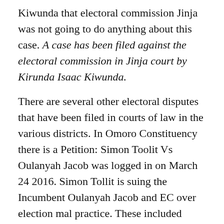Kiwunda that electoral commission Jinja was not going to do anything about this case. A case has been filed against the electoral commission in Jinja court by Kirunda Isaac Kiwunda.
There are several other electoral disputes that have been filed in courts of law in the various districts. In Omoro Constituency there is a Petition: Simon Toolit Vs Oulanyah Jacob was logged in on March 24 2016. Simon Tollit is suing the Incumbent Oulanyah Jacob and EC over election mal practice. These included ballot boxes being kept away in a saloon, EC tampering with DR forms, EC using a Different format of the District DR Form to declare results among other things.